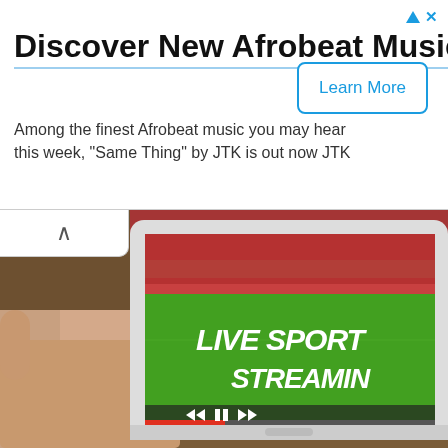Discover New Afrobeat Music
Among the finest Afrobeat music you may hear this week, "Same Thing" by JTK is out now JTK
[Figure (screenshot): A hand holding a tablet displaying a live sport streaming interface with the text 'LIVE SPORT STREAMING' on a green background, with playback controls at the bottom and a football stadium visible in the background]
Learn More